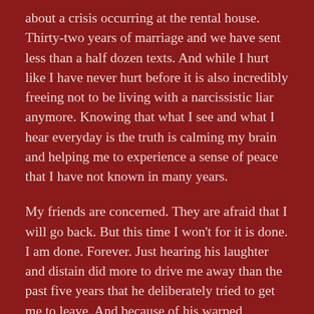about a crisis occurring at the rental house. Thirty-two years of marriage and we have sent less than a half dozen texts. And while I hurt like I have never hurt before it is also incredibly freeing not to be living with a narcissistic liar anymore. Knowing that what I see and what I hear everyday is the truth is calming my brain and helping me to experience a sense of peace that I have not known in many years.
My friends are concerned. They are afraid that I will go back. But this time I won't for it is done. I am done. Forever. Just hearing his laughter and distain did more to drive me away than the past five years that he deliberately tried to get me to leave. And because of his warped thinking he can now tell himself the story that he is innocent....that I left him...that I am the bad one....in order to feel good about himself. Yes, B, you've